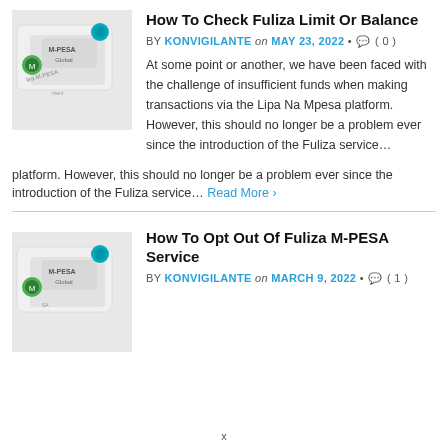How To Check Fuliza Limit Or Balance
BY KONVIGILANTE on MAY 23, 2022 • ( 0 )
At some point or another, we have been faced with the challenge of insufficient funds when making transactions via the Lipa Na Mpesa platform. However, this should no longer be a problem ever since the introduction of the Fuliza service… Read More ›
[Figure (photo): Photo of M-PESA Global card/document]
How To Opt Out Of Fuliza M-PESA Service
BY KONVIGILANTE on MARCH 9, 2022 • ( 1 )
[Figure (photo): Photo of M-PESA Global card/document]